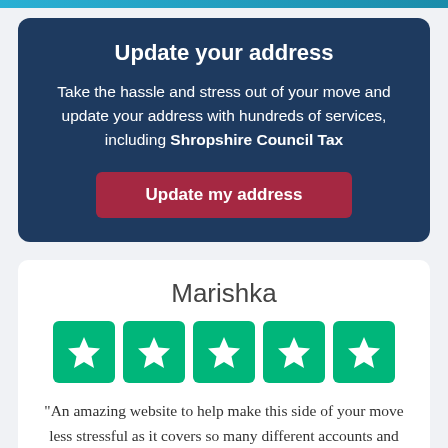Update your address
Take the hassle and stress out of your move and update your address with hundreds of services, including Shropshire Council Tax
Update my address
Marishka
[Figure (infographic): Five green star rating boxes (Trustpilot style), each with a white star icon, arranged in a row]
“An amazing website to help make this side of your move less stressful as it covers so many different accounts and things you may not think